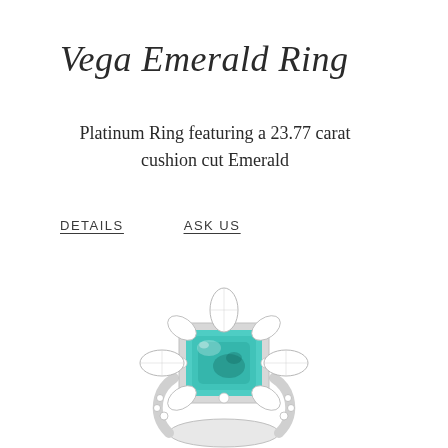Vega Emerald Ring
Platinum Ring featuring a 23.77 carat cushion cut Emerald
DETAILS
ASK US
[Figure (photo): Close-up photo of a platinum ring featuring a large cushion-cut teal/blue-green emerald center stone surrounded by a halo of marquise and round diamonds, with a diamond-pavé band, shown from a slightly elevated angle on a white background.]